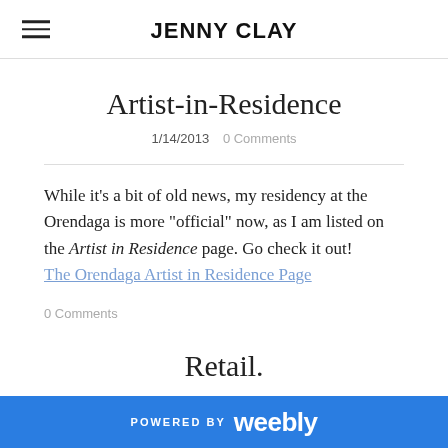JENNY CLAY
Artist-in-Residence
1/14/2013   0 Comments
While it's a bit of old news, my residency at the Orendaga is more "official" now, as I am listed on the Artist in Residence page. Go check it out!
The Orendaga Artist in Residence Page
0 Comments
Retail.
POWERED BY weebly